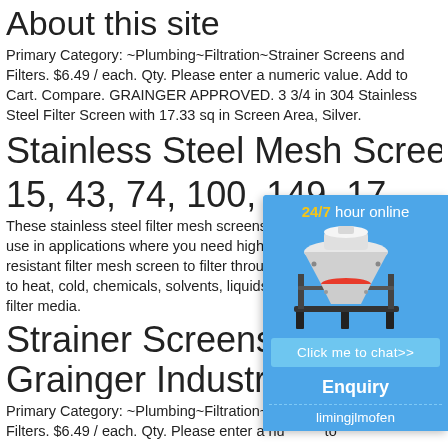About this site
Primary Category: ~Plumbing~Filtration~Strainer Screens and Filters. $6.49 / each. Qty. Please enter a numeric value. Add to Cart. Compare. GRAINGER APPROVED. 3 3/4 in 304 Stainless Steel Filter Screen with 17.33 sq in Screen Area, Silver.
Stainless Steel Mesh Screen (5 15, 43, 74, 100, 149, 17
These stainless steel filter mesh screens are for use in applications where you need high strength, resistant filter mesh screen to filter through well to heat, cold, chemicals, solvents, liquids, and filter media.
Strainer Screens and F
Grainger Industrial Sup
Primary Category: ~Plumbing~Filtration~St d Filters. $6.49 / each. Qty. Please enter a nu to
[Figure (infographic): Chat widget overlay with '24/7 hour online' header in yellow and white, image of industrial cone crusher machine, 'Click me to chat>>' button, 'Enquiry' section, and username 'limingjlmofen']